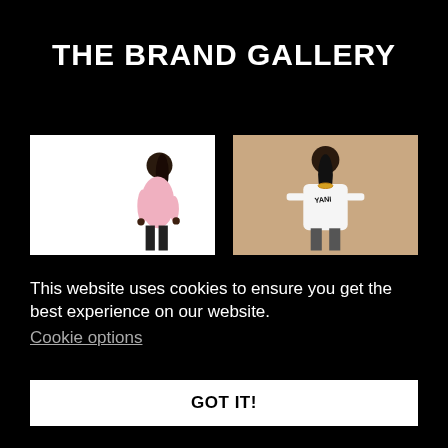THE BRAND GALLERY
[Figure (photo): Woman in pink outfit posing against white background, side profile]
[Figure (photo): Woman in white jacket with text, posing against tan/beige background]
This website uses cookies to ensure you get the best experience on our website.
Cookie options
GOT IT!